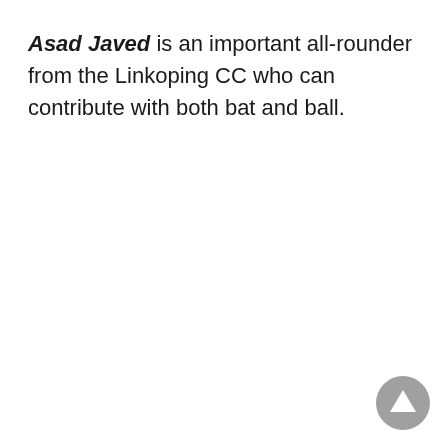Asad Javed is an important all-rounder from the Linkoping CC who can contribute with both bat and ball.
[Figure (illustration): A circular grey button with an upward-pointing triangle (play/up arrow) in the bottom-right corner of the page.]